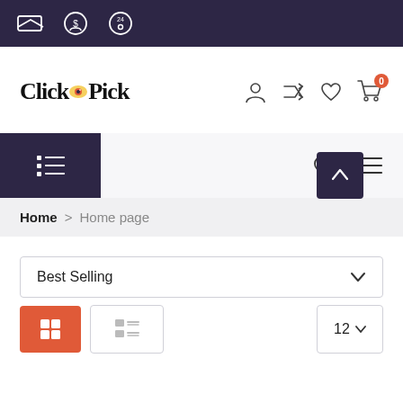[Figure (screenshot): Top dark navigation bar with delivery, payment and support icons in white outline on dark purple (#2d2645) background]
[Figure (logo): ClickNPick logo with eye icon replacing letter N, followed by header icons: user account, shuffle, wishlist heart, and shopping cart with orange badge showing 0]
[Figure (screenshot): Navigation bar with dark purple left panel containing a list/menu icon, and right side showing search and hamburger menu icons on light grey background]
Home > Home page
Best Selling
[Figure (screenshot): View toggle buttons: active orange grid view button, inactive list view button, and per-page count selector showing 12 with dropdown arrow. Scroll-to-top button in dark purple with upward chevron.]